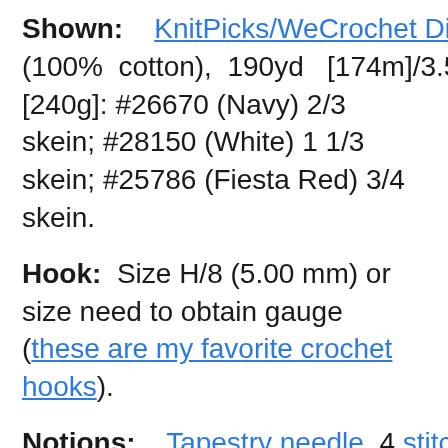Shown: KnitPicks/WeCrochet Dishie (100% cotton), 190yd [174m]/3.5oz [240g]: #26670 (Navy) 2/3 skein; #28150 (White) 1 1/3 skein; #25786 (Fiesta Red) 3/4 skein.
Hook: Size H/8 (5.00 mm) or size need to obtain gauge (these are my favorite crochet hooks).
Notions: Tapestry needle, 4 stitch markers, tape measure.
Optional Materials for Lining the Bag with Fabric: Fabric (one yard),